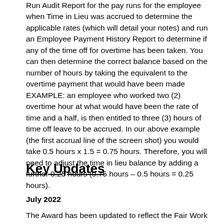Run Audit Report for the pay runs for the employee when Time in Lieu was accrued to determine the applicable rates (which will detail your notes) and run an Employee Payment History Report to determine if any of the time off for overtime has been taken. You can then determine the correct balance based on the number of hours by taking the equivalent to the overtime payment that would have been made EXAMPLE: an employee who worked two (2) overtime hour at what would have been the rate of time and a half, is then entitled to three (3) hours of time off leave to be accrued. In our above example (the first accrual line of the screen shot) you would take 0.5 hours x 1.5 = 0.75 hours. Therefore, you will need to adjust the time in lieu balance by adding a further 0.25 hours (0.75 hours – 0.5 hours = 0.25 hours).
Key Updates
July 2022
The Award has been updated to reflect the Fair Work